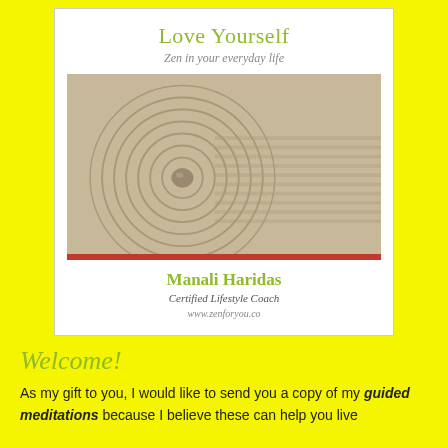ener... feel them... There cent... spine... spini... body. Thro... e cosm... The d... ealth and c... s is asso... nd elem... deve... Wha... In a b... a bala... the chak... re
[Figure (illustration): Book cover for 'Love Yourself: Zen in your everyday life' by Manali Haridas, Certified Lifestyle Coach. Features a zen sand garden with circular ripple patterns around a stone. Red horizontal bar separator. Website: www.zenforyou.co]
Welcome!
As my gift to you, I would like to send you a copy of my guided meditations because I believe these can help you live